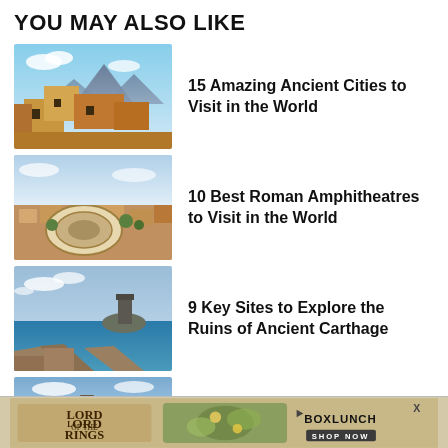YOU MAY ALSO LIKE
[Figure (photo): Ancient adobe pueblo buildings with mountains in background]
15 Amazing Ancient Cities to Visit in the World
[Figure (photo): Aerial view of Roman amphitheatre in a city]
10 Best Roman Amphitheatres to Visit in the World
[Figure (photo): Coastal landscape with ruins and a rocky island with tower]
9 Key Sites to Explore the Ruins of Ancient Carthage
[Figure (photo): Historic site with stone walls and blue sky]
The 10 Best Historic Sites in
[Figure (infographic): Advertisement banner: Lord of the Rings - BoxLunch SHOP NOW]